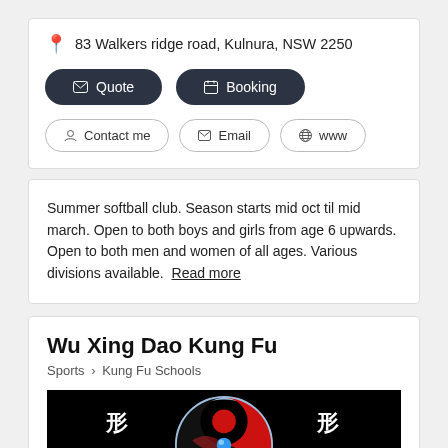83 Walkers ridge road, Kulnura, NSW 2250
Quote | Booking
Contact me | Email | www
Summer softball club. Season starts mid oct til mid march. Open to both boys and girls from age 6 upwards. Open to both men and women of all ages. Various divisions available. Read more
Wu Xing Dao Kung Fu
Sports > Kung Fu Schools
[Figure (logo): Wu Xing Dao Kung Fu logo: red and black yin-yang style dragon design with Chinese characters on left and right sides, blue gem in center, on black background]